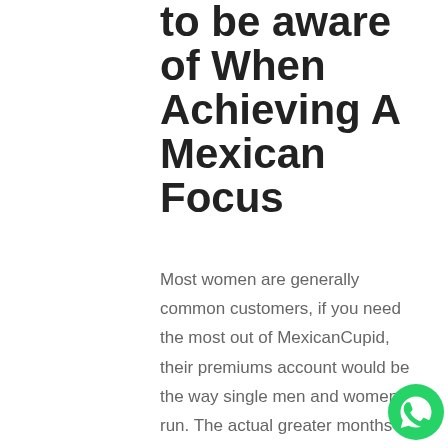to be aware of When Achieving A Mexican Focus
Most women are generally common customers, if you need the most out of MexicanCupid, their premiums account would be the way single men and women run. The actual greater months mexican service one agree to upfront, the better of a discount on month-to-month price gain. It beauty the exact same rules on who you can email, so when you wanna submit a note to girls the interesting ladies you find, update from premiums ongoing. Golden and Platinum program cost you similar to on
[Figure (logo): WhatsApp green circle icon with phone handset symbol]